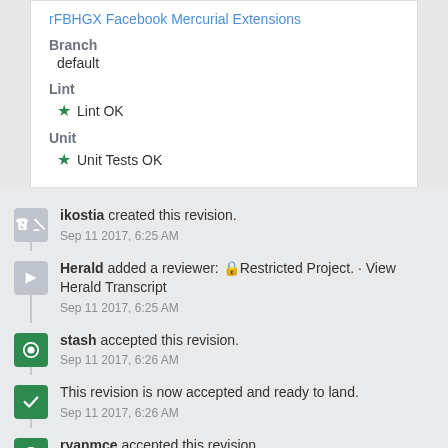rFBHGX Facebook Mercurial Extensions
Branch
 default
Lint
 ★ Lint OK
Unit
 ★ Unit Tests OK
ikostia created this revision.
Sep 11 2017, 6:25 AM
Herald added a reviewer: 🔒Restricted Project. · View Herald Transcript
Sep 11 2017, 6:25 AM
stash accepted this revision.
Sep 11 2017, 6:26 AM
This revision is now accepted and ready to land.
Sep 11 2017, 6:26 AM
ryanmce accepted this revision.
Sep 11 2017, 6:29 AM